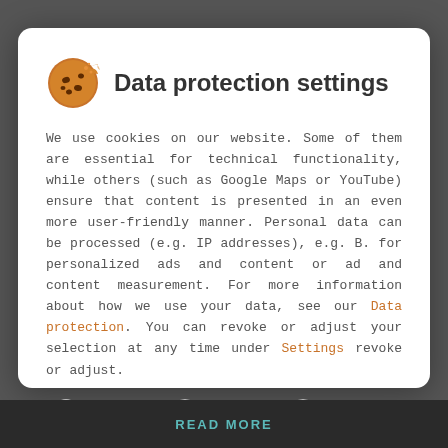Data protection settings
We use cookies on our website. Some of them are essential for technical functionality, while others (such as Google Maps or YouTube) ensure that content is presented in an even more user-friendly manner. Personal data can be processed (e.g. IP addresses), e.g. B. for personalized ads and content or ad and content measurement. For more information about how we use your data, see our Data protection. You can revoke or adjust your selection at any time under Settings revoke or adjust.
Essential
Statistics
External Media